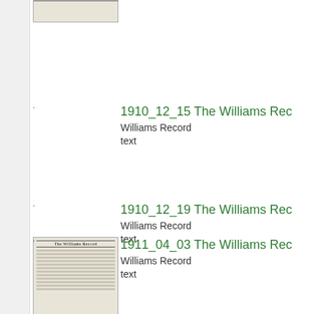[Figure (photo): Partial newspaper thumbnail clipped at top]
1910_12_15 The Williams Rec
Williams Record
text
1910_12_19 The Williams Rec
Williams Record
text
[Figure (photo): Thumbnail image of The Williams Record newspaper front page]
1911_04_03 The Williams Rec
Williams Record
text